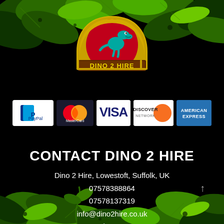[Figure (logo): Dino 2 Hire logo: gold/yellow arch border, red circle background with a teal T-Rex dinosaur silhouette, text 'DINO 2 HIRE' in bold white/yellow letters on brown banner]
[Figure (infographic): Payment method logos in a row: PayPal (blue/white), MasterCard (red/orange overlapping circles), VISA (blue letters on white), Discover Network (white/orange), American Express (blue)]
CONTACT DINO 2 HIRE
Dino 2 Hire, Lowestoft, Suffolk, UK
07578388864
07578137319
info@dino2hire.co.uk
Sitemap
[Figure (illustration): Tropical jungle leaves decorating top of page (dark green, lime green, teal hues)]
[Figure (illustration): Tropical jungle leaves decorating bottom of page (dark green, lime green, teal hues)]